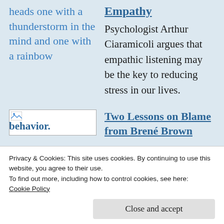heads one with a thunderstorm in the mind and one with a rainbow
Empathy
Psychologist Arthur Ciaramicoli argues that empathic listening may be the key to reducing stress in our lives.
[Figure (photo): Broken image placeholder thumbnail]
Two Lessons on Blame from Brené Brown
behavior.
Privacy & Cookies: This site uses cookies. By continuing to use this website, you agree to their use.
To find out more, including how to control cookies, see here:
Cookie Policy
Close and accept